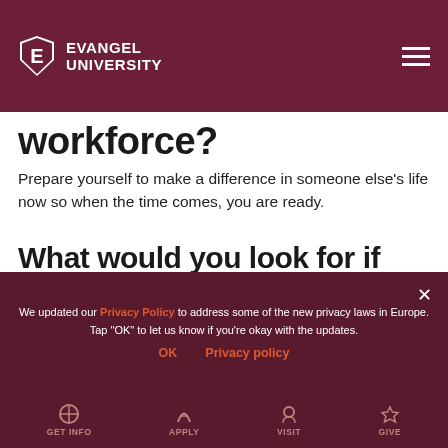Evangel University
workforce?
Prepare yourself to make a difference in someone else's life now so when the time comes, you are ready.
What would you look for if you were in a position to hire new graduates?
A passion for helping students.
We updated our Privacy Policy to address some of the new privacy laws in Europe. Tap "OK" to let us know if you're okay with the updates.
GET INFO   APPLY   VISIT   GIVE